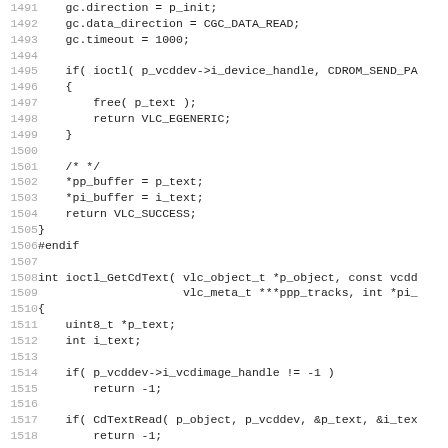Source code listing, lines 1491-1523, showing C code for VCD device ioctl functions including ioctl_GetCdText